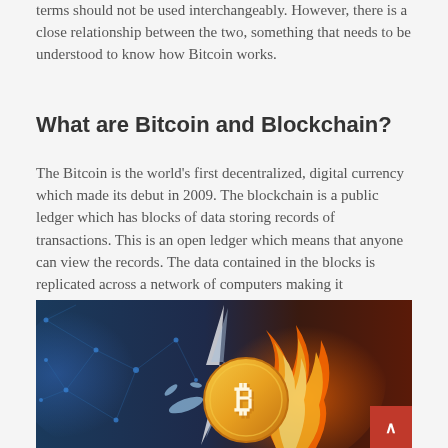terms should not be used interchangeably. However, there is a close relationship between the two, something that needs to be understood to know how Bitcoin works.
What are Bitcoin and Blockchain?
The Bitcoin is the world's first decentralized, digital currency which made its debut in 2009. The blockchain is a public ledger which has blocks of data storing records of transactions. This is an open ledger which means that anyone can view the records. The data contained in the blocks is replicated across a network of computers making it decentralized.
[Figure (illustration): Illustration of a Bitcoin coin with fire and water/lightning effects on a dark blue and red background, suggesting the digital/blockchain theme.]